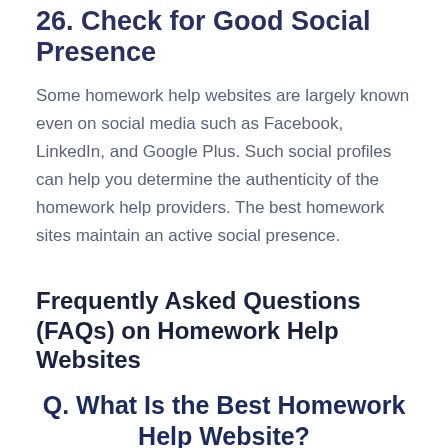26. Check for Good Social Presence
Some homework help websites are largely known even on social media such as Facebook, LinkedIn, and Google Plus. Such social profiles can help you determine the authenticity of the homework help providers. The best homework sites maintain an active social presence.
Frequently Asked Questions (FAQs) on Homework Help Websites
Q. What Is the Best Homework Help Website?
The best homework help websites are those that provide students with quality and original papers with the timelines